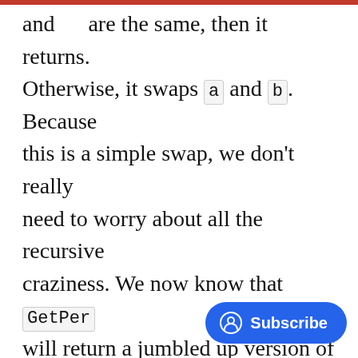and are the same, then it returns. Otherwise, it swaps a and b. Because this is a simple swap, we don't really need to worry about all the recursive craziness. We now know that GetPer will return a jumbled up version of our username. To uncover the actual username we simply have to unscramble it. Before moving on, it's important to note that our scrambled username gets stored in a variable ssOut on line 49 in the Ge function. Now let's go back to the